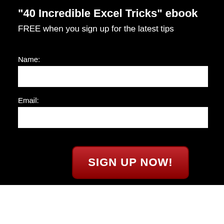"40 Incredible Excel Tricks" ebook
FREE when you sign up for the latest tips
Name:
Email:
SIGN UP NOW!
© Copyright 2020 Computergaga · All Rights Reserved ·